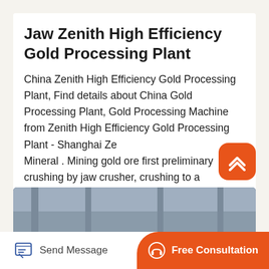Jaw Zenith High Efficiency Gold Processing Plant
China Zenith High Efficiency Gold Processing Plant, Find details about China Gold Processing Plant, Gold Processing Machine from Zenith High Efficiency Gold Processing Plant - Shanghai Ze Mineral . Mining gold ore first preliminary crushing by jaw crusher, crushing to a reasonable degree of fineness via hoist feeder evenly fed.
[Figure (photo): Industrial jaw crusher machinery with large red and black flywheel wheels in a factory setting]
Send Message
Free Consultation